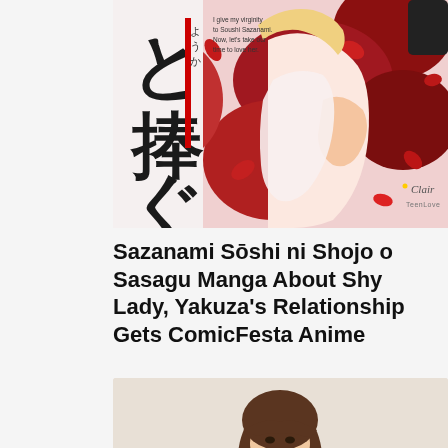[Figure (illustration): Manga cover art for 'Sazanami Sōshi ni Shojo o Sasagu' — features Japanese kanji characters, a red decorative bar, small English text reading 'I give my virginity to Soushi Sazanami. Now, let's take our time to love her.', and an anime-style illustration of a female character surrounded by red rose petals on a white/pink background. Publisher logos 'Clair' and 'TeenLove' visible in bottom right.]
Sazanami Sōshi ni Shojo o Sasagu Manga About Shy Lady, Yakuza's Relationship Gets ComicFesta Anime
[Figure (photo): Photograph of a person with short brown hair, partially visible, against a light beige/cream background — only the top of the head and face are visible at the bottom of the crop.]